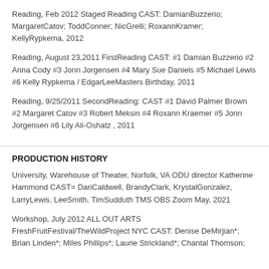Reading, Feb 2012 Staged Reading CAST: DamianBuzzerio; MargaretCatov; ToddConner; NicGrelli; RoxannKramer; KellyRypkema, 2012
Reading, August 23,2011 FirstReading CAST: #1 Damian Buzzerio #2 Anna Cody #3 Jonn Jorgensen #4 Mary Sue Daniels #5 Michael Lewis #6 Kelly Rypkema / EdgarLeeMasters Birthday, 2011
Reading, 9/25/2011 SecondReading: CAST #1 David Palmer Brown #2 Margaret Catov #3 Robert Meksin #4 Roxann Kraemer #5 Jonn Jorgensen #6 Lily Ali-Oshatz , 2011
PRODUCTION HISTORY
University, Warehouse of Theater, Norfolk, VA ODU director Katherine Hammond CAST= DariCaldwell, BrandyClark, KrystalGonzalez, LarryLewis, LeeSmith, TimSudduth TMS OBS Zoom May, 2021
Workshop, July 2012 ALL OUT ARTS FreshFruitFestival/TheWildProject NYC CAST: Denise DeMirjian*; Brian Linden*; Miles Phillips*; Laurie Strickland*; Chantal Thomson;